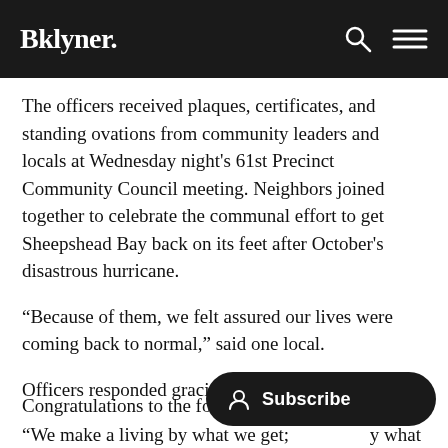Bklyner.
The officers received plaques, certificates, and standing ovations from community leaders and locals at Wednesday night's 61st Precinct Community Council meeting. Neighbors joined together to celebrate the communal effort to get Sheepshead Bay back on its feet after October's disastrous hurricane.
"Because of them, we felt assured our lives were coming back to normal," said one local.
Officers responded graciously.
"We make a living by what we get; [we make a life by] what we give," said one of auxiliary...
Congratulations to the following officers: